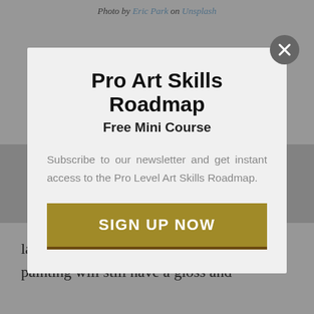Photo by Eric Park on Unsplash
Pro Art Skills Roadmap
Free Mini Course
Subscribe to our newsletter and get instant access to the Pro Level Art Skills Roadmap.
SIGN UP NOW
layers of paint. However, the final painting will still have a gloss and